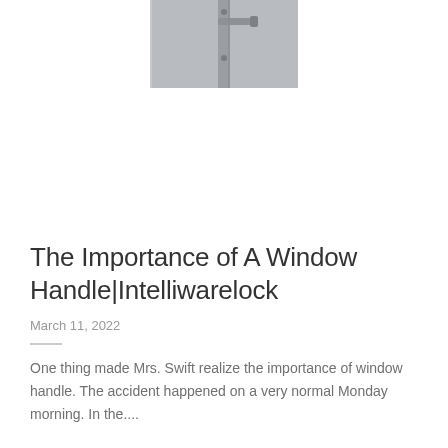[Figure (photo): Photo of a window/door handle on a grey panel, showing a metal lever handle mounted vertically on a grey door surface.]
The Importance of A Window Handle|Intelliwarelock
March 11, 2022
One thing made Mrs. Swift realize the importance of window handle. The accident happened on a very normal Monday morning. In the....